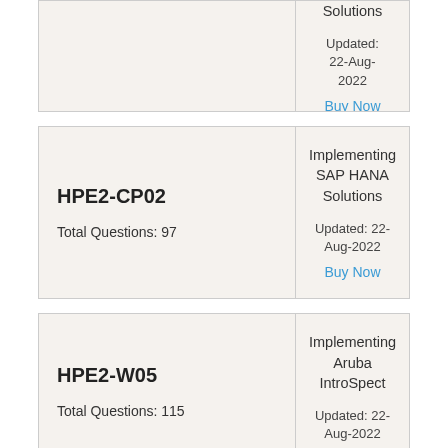| Exam Code | Details |
| --- | --- |
| [partial card top] | Solutions

Updated: 22-Aug-2022
Buy Now |
| HPE2-CP02

Total Questions: 97 | Implementing SAP HANA Solutions

Updated: 22-Aug-2022
Buy Now |
| HPE2-W05

Total Questions: 115 | Implementing Aruba IntroSpect

Updated: 22-Aug-2022 |